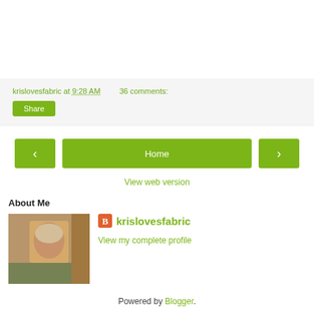krislovesfabric at 9:28 AM   36 comments:
Share
[Figure (screenshot): Navigation buttons: left arrow, Home, right arrow]
View web version
About Me
[Figure (photo): Profile photo of a person with short blonde hair]
krislovesfabric
View my complete profile
Powered by Blogger.